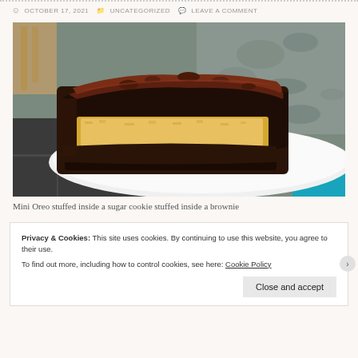OCTOBER 17, 2021   UNCATEGORIZED   LEAVE A COMMENT
[Figure (photo): A large chocolate brownie with chocolate frosting on top, sliced open to reveal a yellow sugar cookie and mini Oreo inside, served on a white plate. Background shows a stone/gravel surface and a wooden chair.]
Mini Oreo stuffed inside a sugar cookie stuffed inside a brownie
Privacy & Cookies: This site uses cookies. By continuing to use this website, you agree to their use.
To find out more, including how to control cookies, see here: Cookie Policy
Close and accept